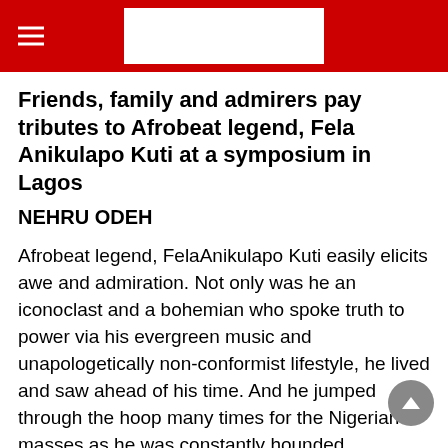Friends, family and admirers pay tributes to Afrobeat legend, Fela Anikulapo Kuti at a symposium in Lagos
NEHRU ODEH
Afrobeat legend, FelaAnikulapo Kuti easily elicits awe and admiration. Not only was he an iconoclast and a bohemian who spoke truth to power via his evergreen music and unapologetically non-conformist lifestyle, he lived and saw ahead of his time. And he jumped through the hoop many times for the Nigerian masses as he was constantly hounded, brutalized, detained and jailed by successive military regimes because of his activism and